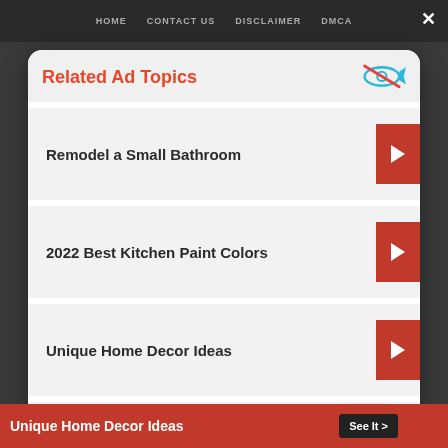HOME   CONTACT US   DISCLAIMER   DMCA
Related Ad Topics
Remodel a Small Bathroom
2022 Best Kitchen Paint Colors
Unique Home Decor Ideas
Modern Stair Railing Ideas
Continue to Site >>
Unique Home Decor Ideas   See It >